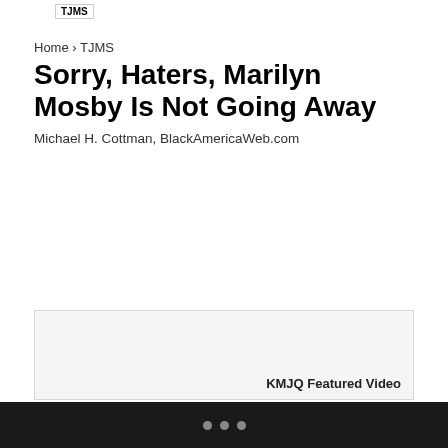TJMS
Home › TJMS
Sorry, Haters, Marilyn Mosby Is Not Going Away
Michael H. Cottman, BlackAmericaWeb.com
[Figure (other): KMJQ Featured Video placeholder box]
Marilyn Mosby is under fire again, this time for attending a Prince concert.
• • •